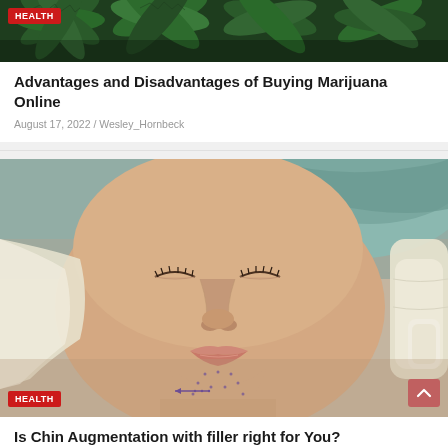[Figure (photo): Close-up of green marijuana/cannabis leaves with a red HEALTH badge overlay]
Advantages and Disadvantages of Buying Marijuana Online
August 17, 2022 / Wesley_Hornbeck
[Figure (photo): Close-up of a woman's face with surgical markings on her chin/jaw area, with a gloved hand visible. Red HEALTH badge in lower left. Scroll-to-top button in lower right.]
Is Chin Augmentation with filler right for You? Here's How to Tell!